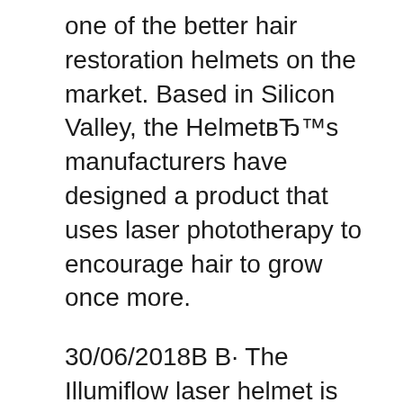one of the better hair restoration helmets on the market. Based in Silicon Valley, the Helmet's manufacturers have designed a product that uses laser phototherapy to encourage hair to grow once more.
30/06/2018В В· The Illumiflow laser helmet is another popular hands-free LLLT device designed to stimulate hair growth in a few months. Utilizing low-level laser therapy, the helmet is designed to offer gentle, effective hair growth treatment that can help to improve the texture and condition of existing hair, while promoting new growth. The 4 best laser combs & systems for hair growth 2020 1